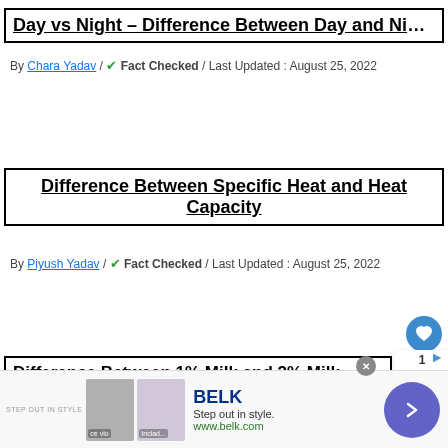Day vs Night – Difference Between Day and Night
By Chara Yadav / ✔ Fact Checked / Last Updated : August 25, 2022
Difference Between Specific Heat and Heat Capacity
By Piyush Yadav / ✔ Fact Checked / Last Updated : August 25, 2022
Difference Between 1% Milk and 2% Milk
Yadav / ✔ Fact Checked / Last Updated : August 27, 20...
[Figure (other): Advertisement banner for BELK: Step out in style. www.belk.com with two product images]